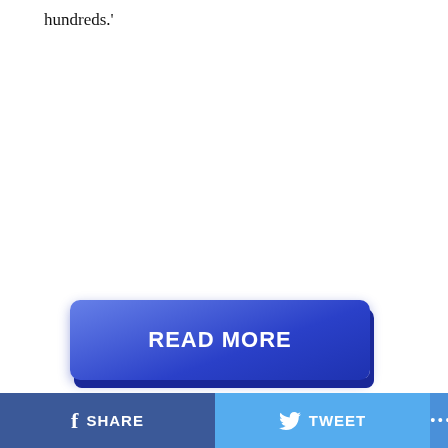hundreds.'
[Figure (other): Blue 3D-style 'READ MORE' button with gradient and shadow effect]
on Newz Online
Unlike at the 2008 trial, Jane is now cooperating with prosecutors and is a pivotal witness.
Prosecutors say Kelly shot an explicit video of Jane in a
SHARE   TWEET   ...